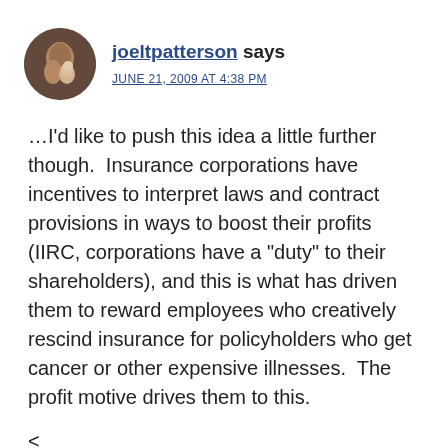[Figure (photo): Circular avatar photo of joeltpatterson, showing a person with a baby/child, brown tones]
joeltpatterson says
JUNE 21, 2009 AT 4:38 PM
…I'd like to push this idea a little further though.  Insurance corporations have incentives to interpret laws and contract provisions in ways to boost their profits (IIRC, corporations have a "duty" to their shareholders), and this is what has driven them to reward employees who creatively rescind insurance for policyholders who get cancer or other expensive illnesses.  The profit motive drives them to this.
<
n: But if you create a public plan that is not